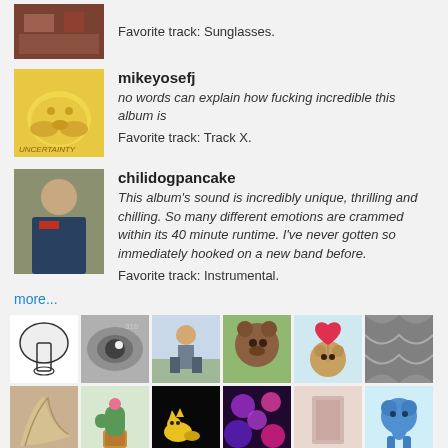Favorite track: Sunglasses.
mikeyosefj
no words can explain how fucking incredible this album is
Favorite track: Track X.
chilidogpancake
This album's sound is incredibly unique, thrilling and chilling. So many different emotions are crammed within its 40 minute runtime. I've never gotten so immediately hooked on a new band before.
Favorite track: Instrumental.
more...
[Figure (photo): Grid of user avatar thumbnails, two rows of six images each]
[Figure (photo): Partial third row of thumbnails at bottom of page]